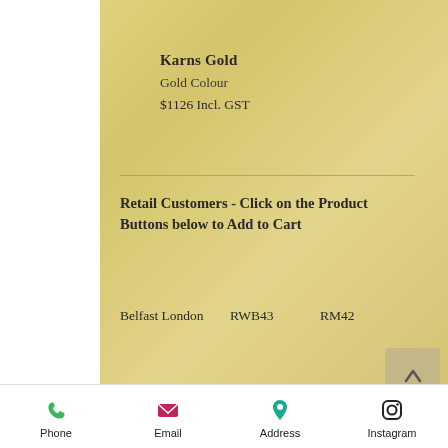Karns Gold
Gold Colour
$1126 Incl. GST
Retail Customers - Click on the Product Buttons below to Add to Cart
Belfast London   RWB43   RM42
Trade Customers Only (Log In
[Figure (other): Bottom navigation bar with Phone (green phone icon), Email (pink envelope icon), Address (teal map pin icon), Instagram (Instagram logo icon) options]